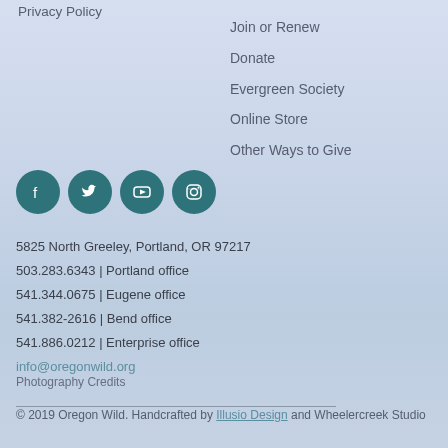Privacy Policy
Join or Renew
Donate
Evergreen Society
Online Store
Other Ways to Give
[Figure (illustration): Four social media icon buttons (Facebook, Twitter, YouTube, Instagram) as dark teal circular icons]
5825 North Greeley, Portland, OR 97217
503.283.6343 | Portland office
541.344.0675 | Eugene office
541.382-2616 | Bend office
541.886.0212 | Enterprise office
info@oregonwild.org
Photography Credits
© 2019 Oregon Wild. Handcrafted by Illusio Design and Wheelercreek Studio